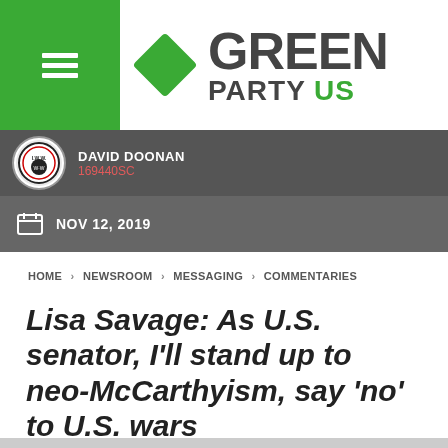[Figure (logo): Green Party US logo with green diamond and bold text GREEN PARTY US]
DAVID DOONAN
169440SC
NOV 12, 2019
HOME > NEWSROOM > MESSAGING > COMMENTARIES
Lisa Savage: As U.S. senator, I'll stand up to neo-McCarthyism, say 'no' to U.S. wars